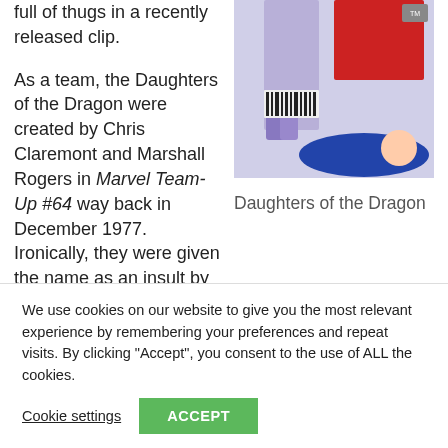full of thugs in a recently released clip.
[Figure (illustration): Comic book cover for Daughters of the Dragon showing two female characters and a defeated figure]
Daughters of the Dragon
As a team, the Daughters of the Dragon were created by Chris Claremont and Marshall Rogers in Marvel Team-Up #64 way back in December 1977. Ironically, they were given the name as an insult by Iron Fist foe
We use cookies on our website to give you the most relevant experience by remembering your preferences and repeat visits. By clicking "Accept", you consent to the use of ALL the cookies.
Cookie settings
ACCEPT